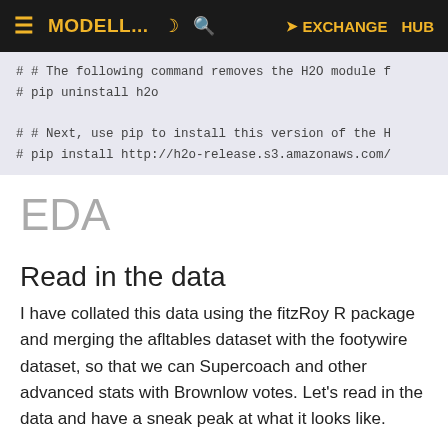≡ MODELL... ☽ 🔍 ➤ EXCHANGE HUB
# # The following command removes the H2O module f
# pip uninstall h2o

# # Next, use pip to install this version of the H
# pip install http://h2o-release.s3.amazonaws.com/
EDA
Read in the data
I have collated this data using the fitzRoy R package and merging the afltables dataset with the footywire dataset, so that we can Supercoach and other advanced stats with Brownlow votes. Let's read in the data and have a sneak peak at what it looks like.